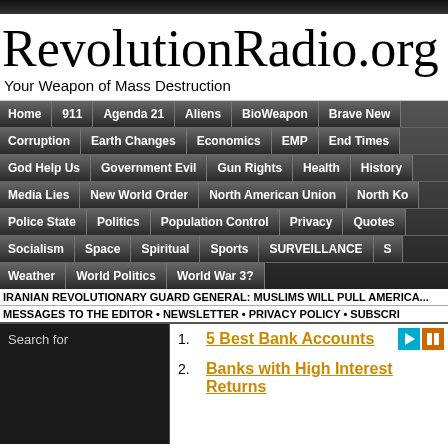RevolutionRadio.org
Your Weapon of Mass Destruction
[Figure (infographic): Navigation menu bar with dark gradient background containing multiple rows of category links: Home, 911, Agenda 21, Aliens, BioWeapon, Brave New..., Corruption, Earth Changes, Economics, EMP, End Times, God Help Us, Government Evil, Gun Rights, Health, History..., Media Lies, New World Order, North American Union, North Ko..., Police State, Politics, Population Control, Privacy, Quotes, Socialism, Space, Spiritual, Sports, SURVEILLANCE, S..., Weather, World Politics, World War 3?]
IRANIAN REVOLUTIONARY GUARD GENERAL: MUSLIMS WILL PULL AMERICA...
MESSAGES TO THE EDITOR • NEWSLETTER • PRIVACY POLICY • SUBSCRI...
Search for
5 Best Bank Accounts
Banks with High Interest Returns